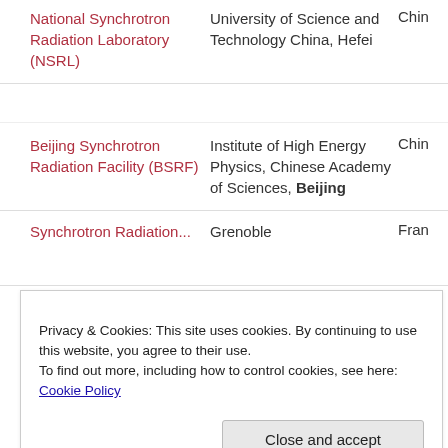| Facility | Institution | Country |
| --- | --- | --- |
| National Synchrotron Radiation Laboratory (NSRL) | University of Science and Technology China, Hefei | China |
| Beijing Synchrotron Radiation Facility (BSRF) | Institute of High Energy Physics, Chinese Academy of Sciences, Beijing | China |
| Synchrotron Radiation... | Grenoble | Fra... |
Privacy & Cookies: This site uses cookies. By continuing to use this website, you agree to their use.
To find out more, including how to control cookies, see here: Cookie Policy